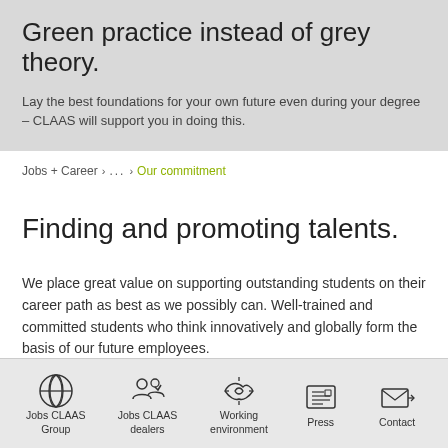Green practice instead of grey theory.
Lay the best foundations for your own future even during your degree – CLAAS will support you in doing this.
Jobs + Career > ... > Our commitment
Finding and promoting talents.
We place great value on supporting outstanding students on their career path as best as we possibly can. Well-trained and committed students who think innovatively and globally form the basis of our future employees.
Jobs CLAAS Group | Jobs CLAAS dealers | Working environment | Press | Contact